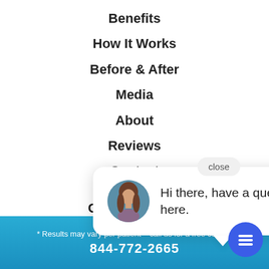Benefits
How It Works
Before & After
Media
About
Reviews
Contact
[Figure (screenshot): Chat popup with avatar photo of a woman with long brown hair and text: Hi there, have a question? Text us here. Close button visible top right.]
Cool Sculpting
* Results may vary per patient – call us for a free consultation
844-772-2665